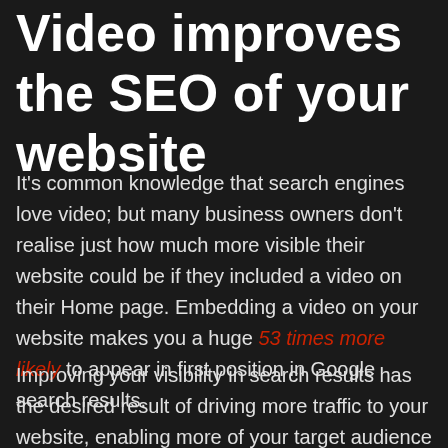Video improves the SEO of your website
It's common knowledge that search engines love video; but many business owners don't realise just how much more visible their website could be if they included a video on their Home page. Embedding a video on your website makes you a huge 53 times more likely to appear in first position in Google search results.
Improving your visibility in search results has the desired result of driving more traffic to your website, enabling more of your target audience to receive your brand